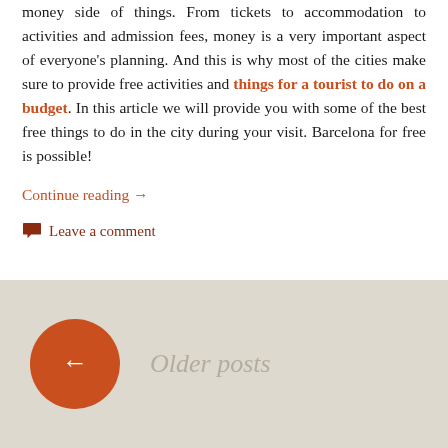money side of things. From tickets to accommodation to activities and admission fees, money is a very important aspect of everyone's planning. And this is why most of the cities make sure to provide free activities and things for a tourist to do on a budget. In this article we will provide you with some of the best free things to do in the city during your visit. Barcelona for free is possible!
Continue reading →
Leave a comment
Older posts